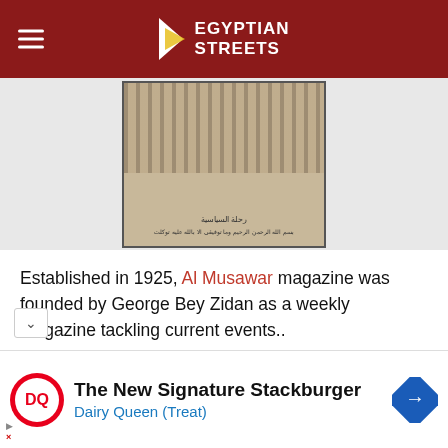Egyptian Streets
[Figure (photo): Old magazine cover with Arabic text and curtain imagery, displayed on a light gray background]
Established in 1925, Al Musawar magazine was founded by George Bey Zidan as a weekly magazine tackling current events..
Almost a century old magazine, Al Musawar has been owned by the Egyptian government since 1960, with its editor-in-chief and head of the publishing e appointed by the Egyptian state.
[Figure (other): Dairy Queen advertisement: The New Signature Stackburger, Dairy Queen (Treat)]